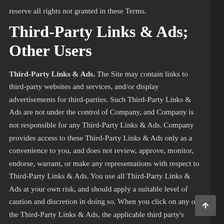reserve all rights not granted in these Terms.
Third-Party Links & Ads; Other Users
Third-Party Links & Ads. The Site may contain links to third-party websites and services, and/or display advertisements for third-parties. Such Third-Party Links & Ads are not under the control of Company, and Company is not responsible for any Third-Party Links & Ads. Company provides access to these Third-Party Links & Ads only as a convenience to you, and does not review, approve, monitor, endorse, warrant, or make any representations with respect to Third-Party Links & Ads. You use all Third-Party Links & Ads at your own risk, and should apply a suitable level of caution and discretion in doing so. When you click on any of the Third-Party Links & Ads, the applicable third party's terms and policies apply, including the third party's privacy and data gathering practices.